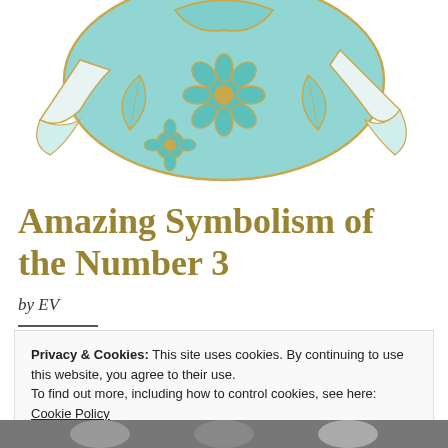[Figure (illustration): Decorative teal and gold floral illustration with flowers and flowing ribbons, positioned at top center of page]
Amazing Symbolism of the Number 3
by EV
Privacy & Cookies: This site uses cookies. By continuing to use this website, you agree to their use.
To find out more, including how to control cookies, see here: Cookie Policy
Close and accept
[Figure (photo): Black and white photo at bottom of page, partially visible]